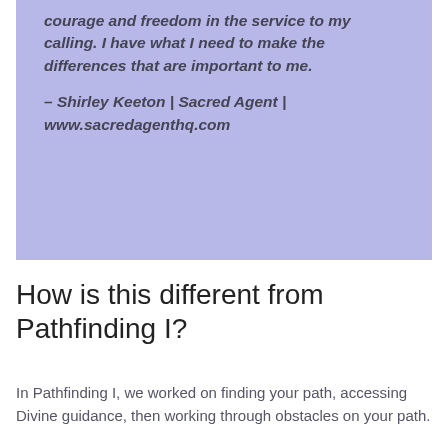courage and freedom in the service to my calling. I have what I need to make the differences that are important to me.

– Shirley Keeton | Sacred Agent | www.sacredagenthq.com
How is this different from Pathfinding I?
In Pathfinding I, we worked on finding your path, accessing Divine guidance, then working through obstacles on your path.